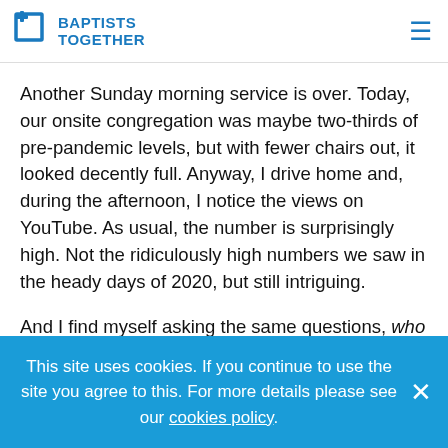BAPTISTS TOGETHER
Another Sunday morning service is over. Today, our onsite congregation was maybe two-thirds of pre-pandemic levels, but with fewer chairs out, it looked decently full. Anyway, I drive home and, during the afternoon, I notice the views on YouTube. As usual, the number is surprisingly high. Not the ridiculously high numbers we saw in the heady days of 2020, but still intriguing.
And I find myself asking the same questions, who ARE all these people? And, will they ever attend physical
This site uses cookies. If you continue to use the site you agree to this. For more details please see our cookies policy.